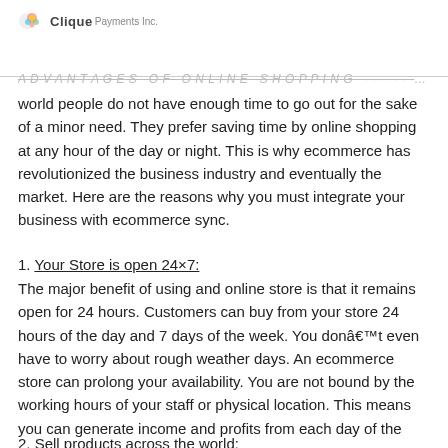Clique Payments Inc.
world people do not have enough time to go out for the sake of a minor need. They prefer saving time by online shopping at any hour of the day or night. This is why ecommerce has revolutionized the business industry and eventually the market. Here are the reasons why you must integrate your business with ecommerce sync.
1. Your Store is open 24×7: The major benefit of using and online store is that it remains open for 24 hours. Customers can buy from your store 24 hours of the day and 7 days of the week. You don't even have to worry about rough weather days. An ecommerce store can prolong your availability. You are not bound by the working hours of your staff or physical location. This means you can generate income and profits from each day of the year.
2. Sell products across the world: